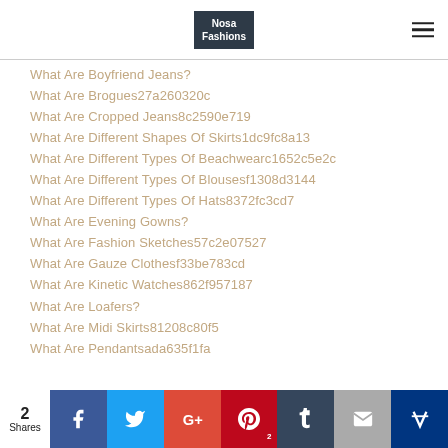Nosa Fashions
What Are Boyfriend Jeans?
What Are Brogues27a260320c
What Are Cropped Jeans8c2590e719
What Are Different Shapes Of Skirts1dc9fc8a13
What Are Different Types Of Beachwearc1652c5e2c
What Are Different Types Of Blousesf1308d3144
What Are Different Types Of Hats8372fc3cd7
What Are Evening Gowns?
What Are Fashion Sketches57c2e07527
What Are Gauze Clothesf33be783cd
What Are Kinetic Watches862f957187
What Are Loafers?
What Are Midi Skirts81208c80f5
What Are Pendantsada635f1fa
2 Shares | Facebook | Twitter | Google+ | Pinterest 2 | Tumblr | Email | Crown